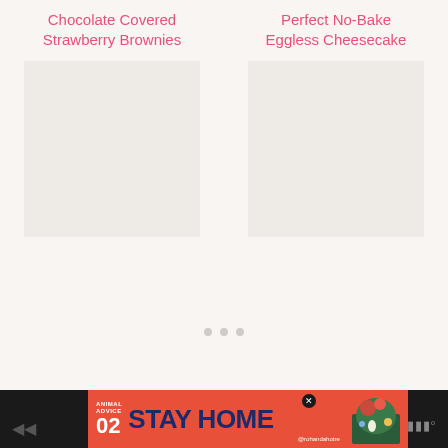Chocolate Covered Strawberry Brownies
Perfect No-Bake Eggless Cheesecake
[Figure (other): Loading placeholder area with gray background for food recipe image (left)]
[Figure (other): Loading placeholder area with gray background for food recipe image (right)]
[Figure (infographic): Advertisement banner: Animal Advice 02 - STAY HOME - @rohandahotre with illustrated mushroom/nature scene on orange/red background]